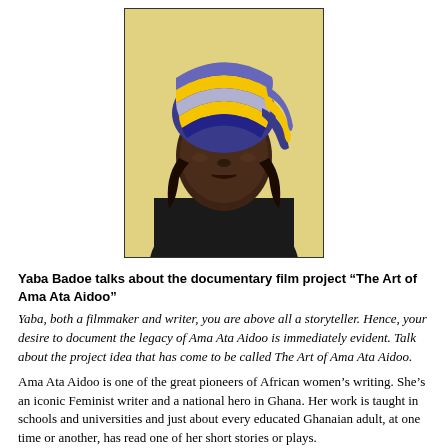[Figure (photo): Portrait photo of a woman wearing a colorful striped headwrap in blue, yellow, grey and white, wearing a dark top and necklace, with a light yellow background.]
Yaba Badoe talks about the documentary film project “The Art of Ama Ata Aidoo”
Yaba, both a filmmaker and writer, you are above all a storyteller. Hence, your desire to document the legacy of Ama Ata Aidoo is immediately evident. Talk about the project idea that has come to be called The Art of Ama Ata Aidoo.
Ama Ata Aidoo is one of the great pioneers of African women’s writing. She’s an iconic Feminist writer and a national hero in Ghana. Her work is taught in schools and universities and just about every educated Ghanaian adult, at one time or another, has read one of her short stories or plays.
I came to Ama Ata Aidoo late. I was invited to submit a short story to a collection of stories she was editing: African Love Stories (pb Ayebia Clarke). My short story, The Rival, was accepted. But it wasn’t until I attended a friend’s New Year’s party in Accra that I finally met Ama Ata. I fell in love with her spirit, and immediately read everything of hers I could lay my hands on. I particularly enjoyed her 1991 award winning novel,